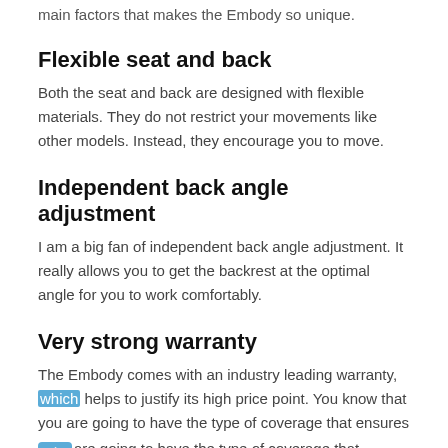main factors that makes the Embody so unique.
Flexible seat and back
Both the seat and back are designed with flexible materials. They do not restrict your movements like other models. Instead, they encourage you to move.
Independent back angle adjustment
I am a big fan of independent back angle adjustment. It really allows you to get the backrest at the optimal angle for you to work comfortably.
Very strong warranty
The Embody comes with an industry leading warranty, which helps to justify its high price point. You know that you are going to have the type of coverage that ensures you will be covered for the next 12 years...